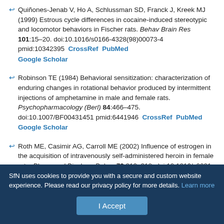Quiñones-Jenab V, Ho A, Schlussman SD, Franck J, Kreek MJ (1999) Estrous cycle differences in cocaine-induced stereotypic and locomotor behaviors in Fischer rats. Behav Brain Res 101:15–20. doi:10.1016/s0166-4328(98)00073-4 pmid:10342395 CrossRef PubMed Google Scholar
Robinson TE (1984) Behavioral sensitization: characterization of enduring changes in rotational behavior produced by intermittent injections of amphetamine in male and female rats. Psychopharmacology (Berl) 84:466–475. doi:10.1007/BF00431451 pmid:6441946 CrossRef PubMed Google Scholar
Roth ME, Casimir AG, Carroll ME (2002) Influence of estrogen in the acquisition of intravenously self-administered heroin in female rats. Pharmacol Biochem Behav 72:313–318. doi:10.1016/s0091-3057(01)00777-8 pmid:11900802 CrossRef PubMed Google Scholar
SfN uses cookies to provide you with a secure and custom website experience. Please read our privacy policy for more details. Learn more